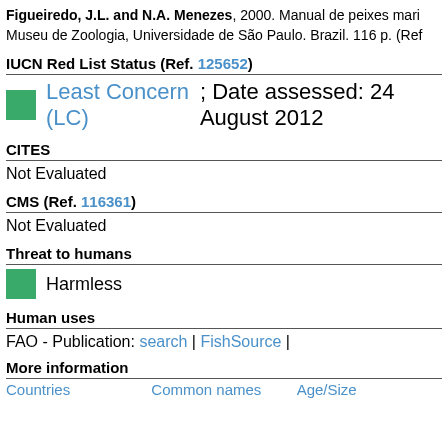Figueiredo, J.L. and N.A. Menezes, 2000. Manual de peixes marinhos do sudeste do Brasil. Museu de Zoologia, Universidade de São Paulo. Brazil. 116 p. (Ref...)
IUCN Red List Status (Ref. 125652)
Least Concern (LC) ; Date assessed: 24 August 2012
CITES
Not Evaluated
CMS (Ref. 116361)
Not Evaluated
Threat to humans
Harmless
Human uses
FAO - Publication: search | FishSource |
More information
Countries   Common names   Age/Size